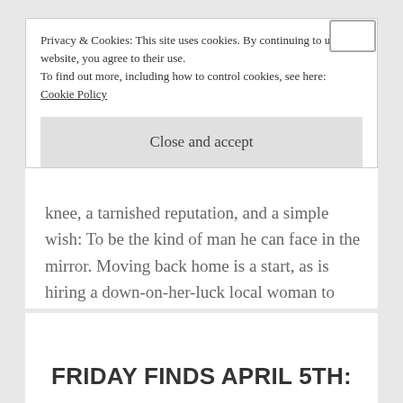Privacy & Cookies: This site uses cookies. By continuing to use this website, you agree to their use. To find out more, including how to control cookies, see here: Cookie Policy
Close and accept
knee, a tarnished reputation, and a simple wish: To be the kind of man he can face in the mirror. Moving back home is a start, as is hiring a down-on-her-luck local woman to help him out around his…
READ MORE
FRIDAY FINDS APRIL 5TH: